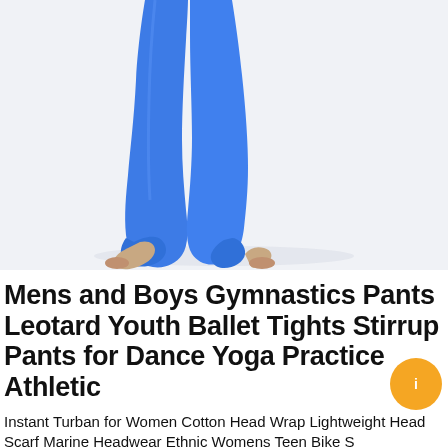[Figure (photo): Close-up photo of a person wearing bright blue gymnastics/ballet stirrup tights, showing legs from upper thigh down to bare feet on a white background. The stirrup loops are visible under the feet.]
Mens and Boys Gymnastics Pants Leotard Youth Ballet Tights Stirrup Pants for Dance Yoga Practice Athletic
Instant Turban for Women Cotton Head Wrap Lightweight Head Scarf Marine Headwear Ethnic Womens Teen Bike S